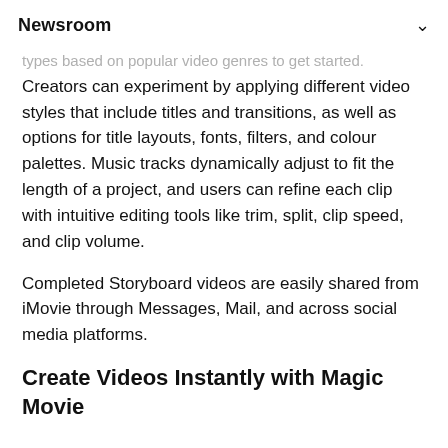Newsroom
types based on popular video genres to get started.
Creators can experiment by applying different video styles that include titles and transitions, as well as options for title layouts, fonts, filters, and colour palettes. Music tracks dynamically adjust to fit the length of a project, and users can refine each clip with intuitive editing tools like trim, split, clip speed, and clip volume.
Completed Storyboard videos are easily shared from iMovie through Messages, Mail, and across social media platforms.
Create Videos Instantly with Magic Movie